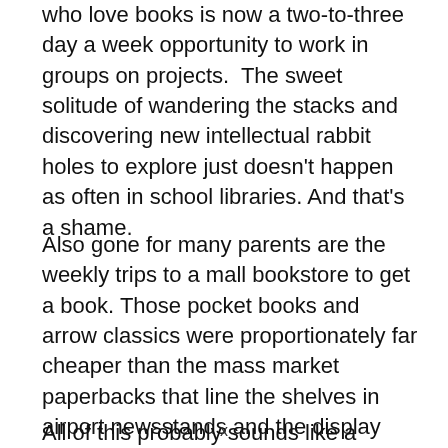who love books is now a two-to-three day a week opportunity to work in groups on projects.  The sweet solitude of wandering the stacks and discovering new intellectual rabbit holes to explore just doesn't happen as often in school libraries. And that's a shame.
Also gone for many parents are the weekly trips to a mall bookstore to get a book. Those pocket books and arrow classics were proportionately far cheaper than the mass market paperbacks that line the shelves in airport newsstands and the display racks.
All of this probably sounds like a downer and
x